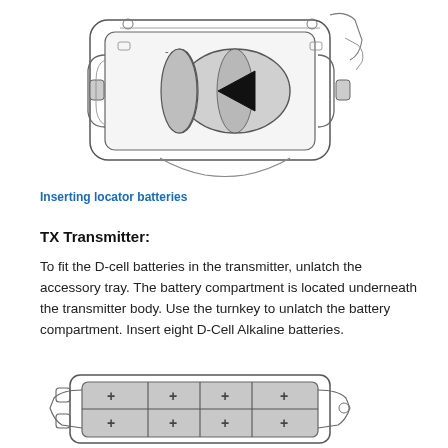[Figure (illustration): Technical illustration of a device with an open battery compartment showing a cylindrical D-cell battery being inserted, with a large black arrow indicating insertion direction.]
Inserting locator batteries
TX Transmitter:
To fit the D-cell batteries in the transmitter, unlatch the accessory tray. The battery compartment is located underneath the transmitter body. Use the turnkey to unlatch the battery compartment. Insert eight D-Cell Alkaline batteries.
[Figure (illustration): Technical illustration showing the open battery compartment of the TX Transmitter with eight D-cell battery slots arranged in two rows of four, with positive terminal markers visible.]